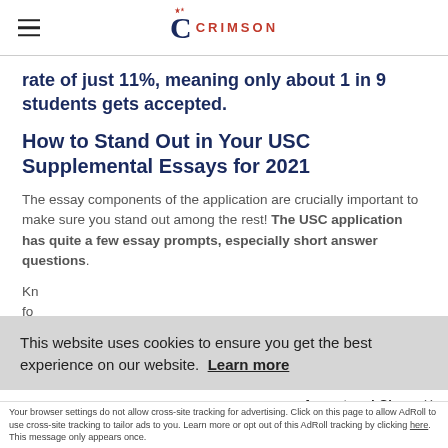Crimson Education logo and navigation
rate of just 11%, meaning only about 1 in 9 students gets accepted.
How to Stand Out in Your USC Supplemental Essays for 2021
The essay components of the application are crucially important to make sure you stand out among the rest! The USC application has quite a few essay prompts, especially short answer questions.
Kn... fo... qu... sh...
This website uses cookies to ensure you get the best experience on our website. Learn more
Accept and Close ✕
Your browser settings do not allow cross-site tracking for advertising. Click on this page to allow AdRoll to use cross-site tracking to tailor ads to you. Learn more or opt out of this AdRoll tracking by clicking here. This message only appears once.